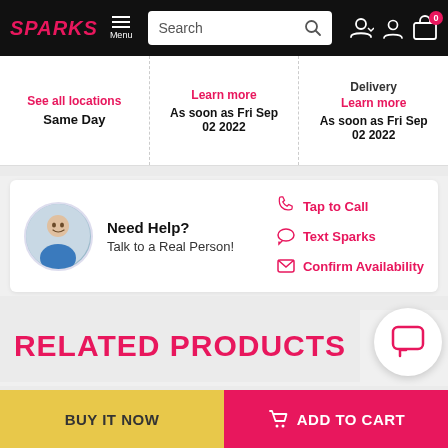SPARKS — Menu | Search | Account | Cart (0)
See all locations Same Day
Learn more As soon as Fri Sep 02 2022
Delivery Learn more As soon as Fri Sep 02 2022
Need Help? Talk to a Real Person! | Tap to Call | Text Sparks | Confirm Availability
RELATED PRODUCTS
BUY IT NOW
ADD TO CART